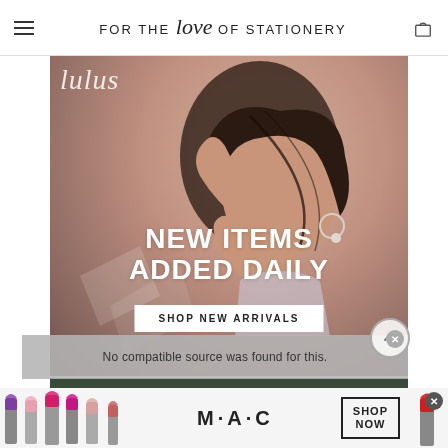FOR THE love OF STATIONERY
[Figure (photo): Fashion photo of a young woman with dark hair, head tilted back with arm raised. Overlaid with promotional text 'NEW ITEMS ADDED DAILY' and a 'SHOP NEW ARRIVALS' button. Lulus brand script visible top left.]
No compatible source was found for this.
[Figure (photo): MAC Cosmetics advertisement banner showing colorful lipsticks on left and right sides, MAC logo in center, and SHOP NOW button in a bordered rectangle. A close (X) button is visible.]